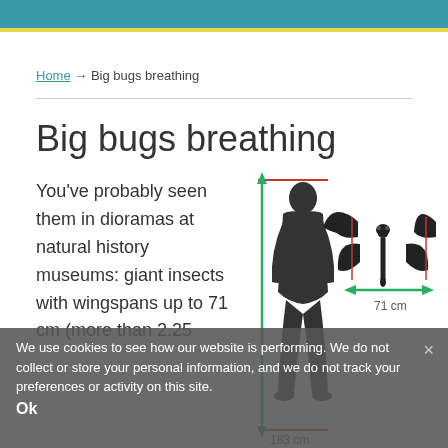Home → Big bugs breathing
Big bugs breathing
You've probably seen them in dioramas at natural history museums: giant insects with wingspans up to 71 cm (more than 2.25
[Figure (infographic): Size comparison diagram showing a human silhouette (183 cm tall) next to a giant dragonfly silhouette (71 cm wingspan). Green double-headed arrows indicate the dimensions. Red horizontal lines mark the top and bottom of the human figure.]
We use cookies to see how our website is performing. We do not collect or store your personal information, and we do not track your preferences or activity on this site.